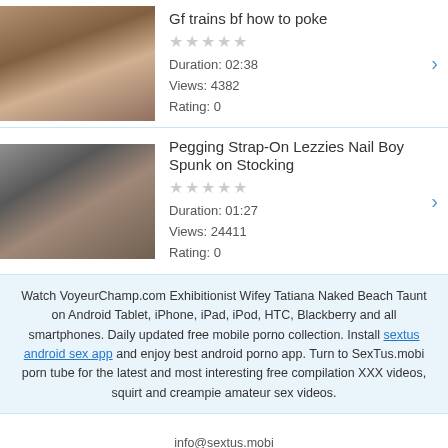[Figure (photo): Thumbnail image for video 1]
Gf trains bf how to poke
Duration: 02:38
Views: 4382
Rating: 0
[Figure (photo): Thumbnail image for video 2]
Pegging Strap-On Lezzies Nail Boy Spunk on Stocking
Duration: 01:27
Views: 24411
Rating: 0
Watch VoyeurChamp.com Exhibitionist Wifey Tatiana Naked Beach Taunt on Android Tablet, iPhone, iPad, iPod, HTC, Blackberry and all smartphones. Daily updated free mobile porno collection. Install sextus android sex app and enjoy best android porno app. Turn to SexTus.mobi porn tube for the latest and most interesting free compilation XXX videos, squirt and creampie amateur sex videos.
info@sextus.mobi
18 USC 2257 / DMCA
© Copyright 2019 sextus.mobi